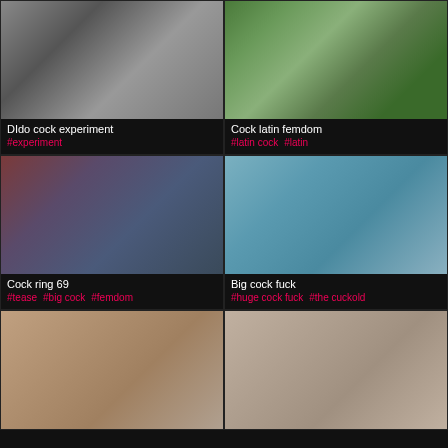[Figure (photo): Black and white close-up photo]
DIdo cock experiment
#experiment
[Figure (photo): Outdoor group photo in color]
Cock latin femdom
#latin cock  #latin
[Figure (photo): Room scene with person on bed, watermark BlackFemDomGoddess.com]
Cock ring 69
#tease  #big cock  #femdom
[Figure (photo): Blurry close-up photo]
Big cock fuck
#huge cock fuck  #the cuckold
[Figure (photo): Feet/hands close-up photo]
[Figure (photo): Person in room photo]